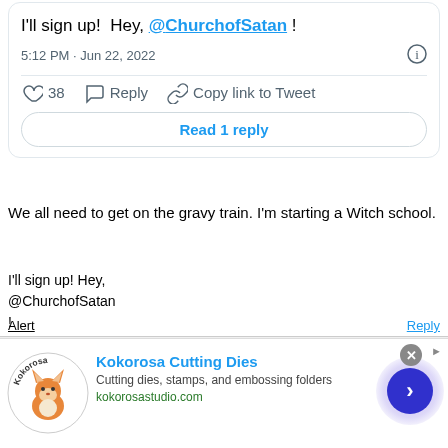I'll sign up!  Hey, @ChurchofSatan !
5:12 PM · Jun 22, 2022
38   Reply   Copy link to Tweet
Read 1 reply
We all need to get on the gravy train. I'm starting a Witch school.
I'll sign up! Hey,
@ChurchofSatan
!
Alert
Reply
GoodRaisin   Jun 23
[Figure (logo): Kokorosa brand logo with fox illustration]
Kokorosa Cutting Dies
Cutting dies, stamps, and embossing folders
kokorosastudio.com